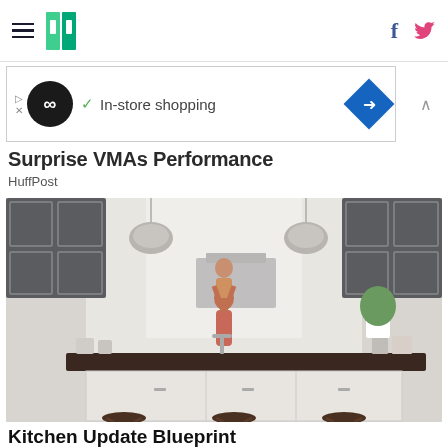HuffPost navigation with hamburger menu, logo, Facebook and Twitter icons
[Figure (screenshot): Advertisement banner: infinity loop logo, checkmark, 'In-store shopping' text, blue diamond navigation icon]
Surprise VMAs Performance
HuffPost
[Figure (photo): Kitchen photo showing a parent lifting a child in a modern kitchen with gray cabinets, pendant lights, island with dark countertop and bar stools]
Kitchen Update Blueprint
Discover
[Figure (photo): Partial photo showing blue sky and palm tree leaves at bottom of page]